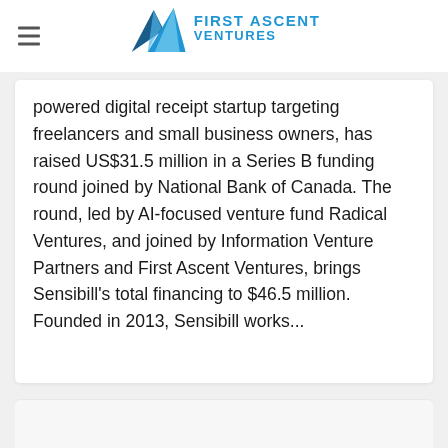[Figure (logo): First Ascent Ventures logo with mountain triangle icon and blue text]
powered digital receipt startup targeting freelancers and small business owners, has raised US$31.5 million in a Series B funding round joined by National Bank of Canada. The round, led by AI-focused venture fund Radical Ventures, and joined by Information Venture Partners and First Ascent Ventures, brings Sensibill's total financing to $46.5 million. Founded in 2013, Sensibill works...